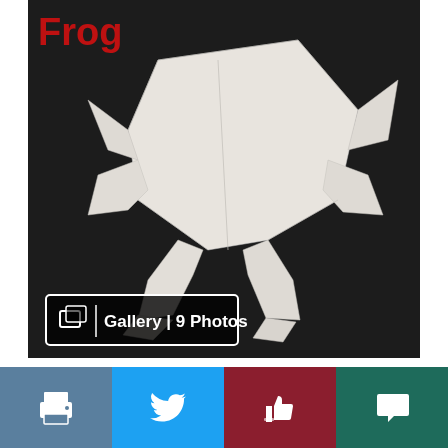[Figure (photo): Origami paper frog on a dark background with 'Frog' text overlay in red at top left. A gallery badge shows 'Gallery | 9 Photos' in the bottom-left corner of the image.]
[Figure (infographic): Social sharing bar with four buttons: print (grey-blue), Twitter (blue), like/thumbs-up (dark red), and comment/speech bubble (dark teal).]